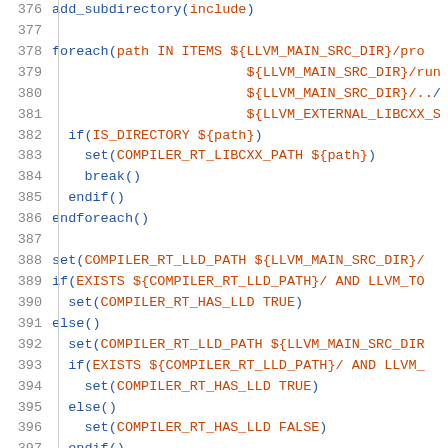Code listing lines 376-405: CMake script for compiler-rt configuration including add_subdirectory, foreach loops, set commands, if/else/endif blocks, and pythonize_bool calls.